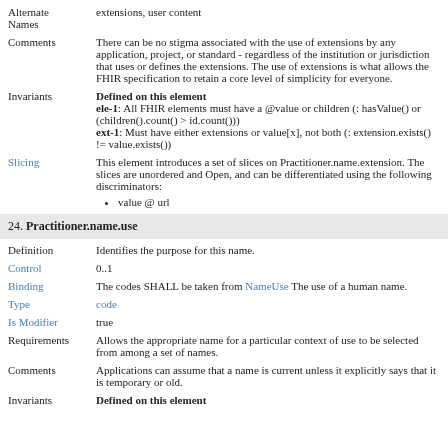Alternate Names: extensions, user content
Comments: There can be no stigma associated with the use of extensions by any application, project, or standard - regardless of the institution or jurisdiction that uses or defines the extensions. The use of extensions is what allows the FHIR specification to retain a core level of simplicity for everyone.
Invariants: Defined on this element ele-1: All FHIR elements must have a @value or children (: hasValue() or (children().count() > id.count())) ext-1: Must have either extensions or value[x], not both (: extension.exists() != value.exists())
Slicing: This element introduces a set of slices on Practitioner.name.extension. The slices are unordered and Open, and can be differentiated using the following discriminators: value @ url
24. Practitioner.name.use
Definition: Identifies the purpose for this name.
Control: 0..1
Binding: The codes SHALL be taken from NameUse The use of a human name.
Type: code
Is Modifier: true
Requirements: Allows the appropriate name for a particular context of use to be selected from among a set of names.
Comments: Applications can assume that a name is current unless it explicitly says that it is temporary or old.
Invariants: Defined on this element